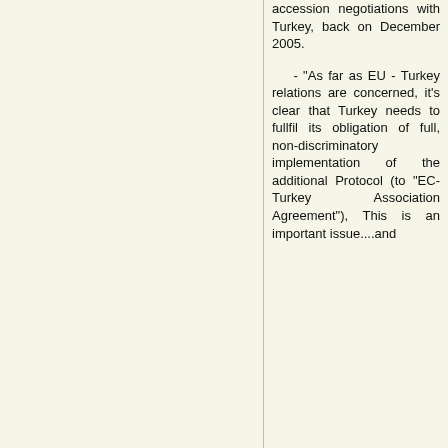accession negotiations with Turkey, back on December 2005.

- "As far as EU - Turkey relations are concerned, it's clear that Turkey needs to fullfil its obligation of full, non-discriminatory implementation of the additional Protocol (to "EC-Turkey Association Agreement"), This is an important issue....and